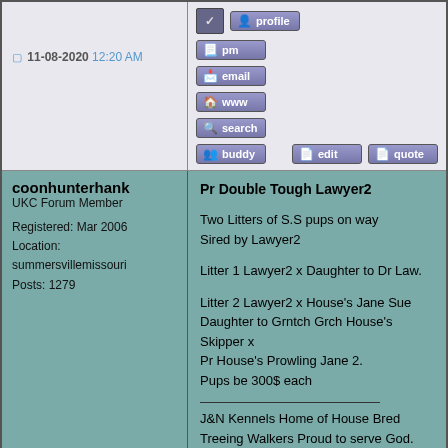11-08-2020 12:20 AM
[Figure (screenshot): Forum action buttons: profile, pm, email, www, search, buddy, edit, quote]
coonhunterhank
UKC Forum Member
Registered: Mar 2006
Location: summersvillemissouri
Posts: 1279
Pr Double Tough Lawyer2

Two Litters of S.S pups on way
Sired by Lawyer2

Litter 1 Lawyer2 x Daughter to Dr Law.

Litter 2 Lawyer2 x House's Jane Sue Daughter to Grntch Grch House's Skipper x
Pr House's Prowling Jane 2.
Pups be 300$ each

J&N Kennels Home of House Bred Treeing Walkers Proud to serve God.
JD Mattison 417 247 9832

Nathan Berry 417 247 1670
Home of
Pr House's Trump @ stud 300$ Ukc